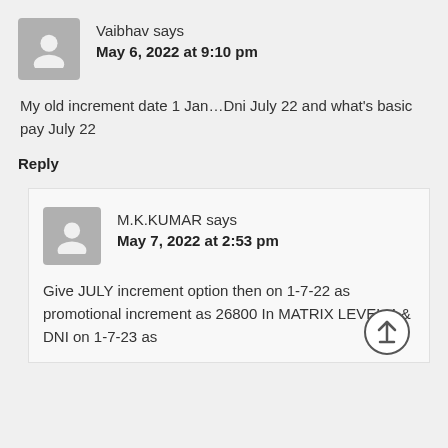Vaibhav says
May 6, 2022 at 9:10 pm
My old increment date 1 Jan…Dni July 22 and what's basic pay July 22
Reply
M.K.KUMAR says
May 7, 2022 at 2:53 pm
Give JULY increment option then on 1-7-22 as promotional increment as 26800 In MATRIX LEVEL 4 & DNI on 1-7-23 as